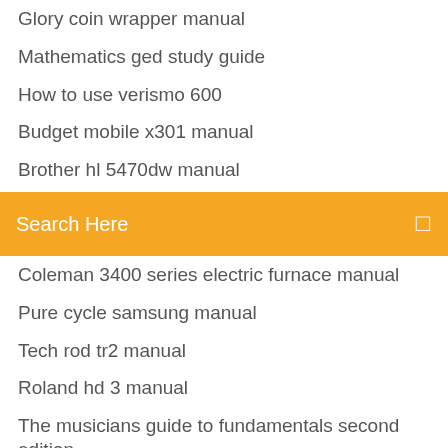Glory coin wrapper manual
Mathematics ged study guide
How to use verismo 600
Budget mobile x301 manual
Brother hl 5470dw manual
2000 ford expedition repair manual pdf
Search Here
Coleman 3400 series electric furnace manual
Pure cycle samsung manual
Tech rod tr2 manual
Roland hd 3 manual
The musicians guide to fundamentals second edition
2013 ford fiesta owners manual
Canon 5d manual
Electric log splitter repair manual
Lenovo s1 yoga manual
Panasonic kx tga106 manual
Cadenced weddings cost manual